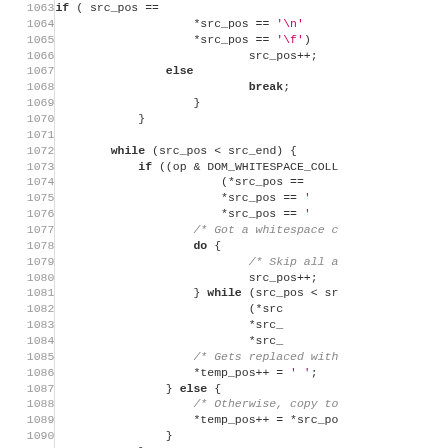[Figure (screenshot): Source code listing showing C code lines 1063-1092, with line numbers on the left, featuring keywords (while, if, else, break, do) in bold, string literals in pink/magenta, and comments in italic gray.]